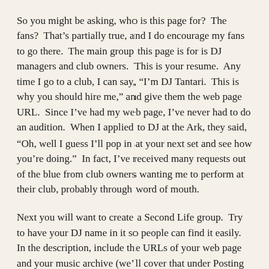So you might be asking, who is this page for?  The fans?  That's partially true, and I do encourage my fans to go there.  The main group this page is for is DJ managers and club owners.  This is your resume.  Any time I go to a club, I can say, “I’m DJ Tantari.  This is why you should hire me,” and give them the web page URL.  Since I’ve had my web page, I’ve never had to do an audition.  When I applied to DJ at the Ark, they said, “Oh, well I guess I’ll pop in at your next set and see how you’re doing.”  In fact, I’ve received many requests out of the blue from club owners wanting me to perform at their club, probably through word of mouth.
Next you will want to create a Second Life group.  Try to have your DJ name in it so people can find it easily.  In the description, include the URLs of your web page and your music archive (we’ll cover that under Posting Live Sets).  Get one of the publicly available Group Joiner objects or scripts and customize it (or hire someone to customize it for you) to give out invitations to your group.  Announce it once or twice during your live sets in an entertaining way, “You’ll always know when I’m performing and where.  You’ll get notices about special events.  You’ll get to help